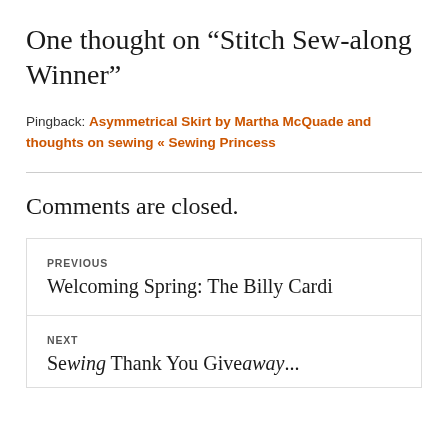One thought on “Stitch Sew-along Winner”
Pingback: Asymmetrical Skirt by Martha McQuade and thoughts on sewing « Sewing Princess
Comments are closed.
PREVIOUS
Welcoming Spring: The Billy Cardi
NEXT
Sewing Thank You Giveaway...